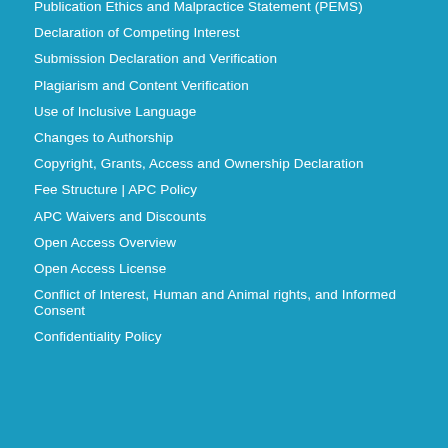Publication Ethics and Malpractice Statement (PEMS)
Declaration of Competing Interest
Submission Declaration and Verification
Plagiarism and Content Verification
Use of Inclusive Language
Changes to Authorship
Copyright, Grants, Access and Ownership Declaration
Fee Structure | APC Policy
APC Waivers and Discounts
Open Access Overview
Open Access License
Conflict of Interest, Human and Animal rights, and Informed Consent
Confidentiality Policy